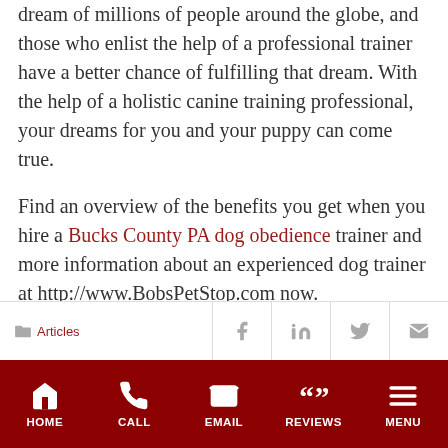dream of millions of people around the globe, and those who enlist the help of a professional trainer have a better chance of fulfilling that dream. With the help of a holistic canine training professional, your dreams for you and your puppy can come true.
Find an overview of the benefits you get when you hire a Bucks County PA dog obedience trainer and more information about an experienced dog trainer at http://www.BobsPetStop.com now.
Articles | HOME | CALL | EMAIL | REVIEWS | MENU